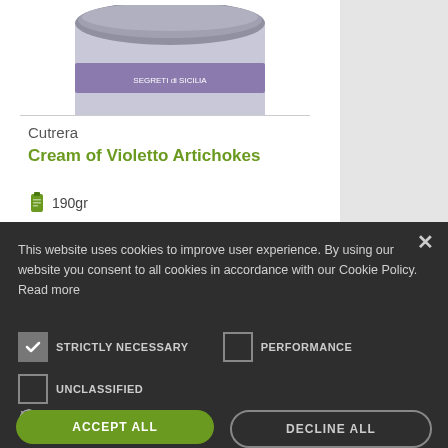[Figure (photo): Top portion of a Cutrera product jar with purple label band, partially visible at top of page]
Cutrera
Cream of Violetto Artichokes
190gr
€5.00
ADD TO CART
This website uses cookies to improve user experience. By using our website you consent to all cookies in accordance with our Cookie Policy. Read more
STRICTLY NECESSARY
PERFORMANCE
UNCLASSIFIED
SHOW DETAILS
ACCEPT ALL
DECLINE ALL